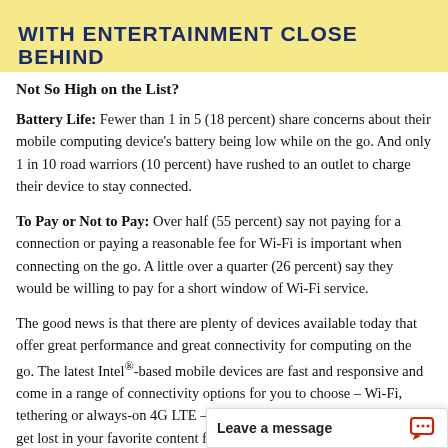[Figure (infographic): Yellow banner with bold dark blue uppercase text reading 'WITH ENTERTAINMENT CLOSE BEHIND' and a partial image on the right]
Not So High on the List?
Battery Life: Fewer than 1 in 5 (18 percent) share concerns about their mobile computing device's battery being low while on the go. And only 1 in 10 road warriors (10 percent) have rushed to an outlet to charge their device to stay connected.
To Pay or Not to Pay: Over half (55 percent) say not paying for a connection or paying a reasonable fee for Wi-Fi is important when connecting on the go. A little over a quarter (26 percent) say they would be willing to pay for a short window of Wi-Fi service.
The good news is that there are plenty of devices available today that offer great performance and great connectivity for computing on the go. The latest Intel®-based mobile devices are fast and responsive and come in a range of connectivity options for you to choose – Wi-Fi, tethering or always-on 4G LTE – so you can power through email or get lost in your favorite content from a coffee shop, library, beach or wherever. Powered by Intel's latest Intel processors, these